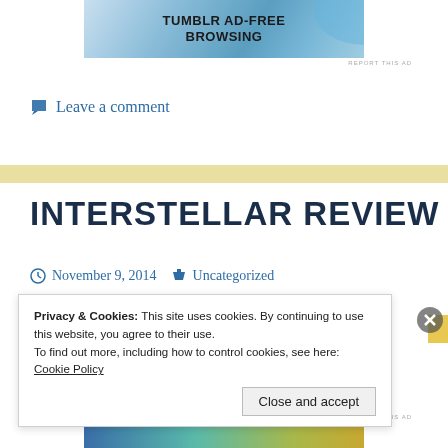[Figure (screenshot): Tumblr Ad-Free Browsing advertisement banner with blue gradient background]
REPORT THIS AD
Leave a comment
INTERSTELLAR REVIEW
November 9, 2014   Uncategorized
Privacy & Cookies: This site uses cookies. By continuing to use this website, you agree to their use.
To find out more, including how to control cookies, see here: Cookie Policy
Close and accept
[Figure (screenshot): Bottom advertisement banner with gradient colors]